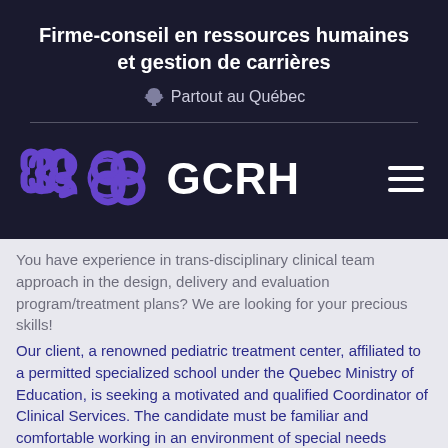Firme-conseil en ressources humaines et gestion de carrières
Partout au Québec
[Figure (logo): GCRH logo with purple interlocking knot symbol and hamburger menu icon]
You have experience in trans-disciplinary clinical team approach in the design, delivery and evaluation program/treatment plans? We are looking for your precious skills!
Our client, a renowned pediatric treatment center, affiliated to a permitted specialized school under the Quebec Ministry of Education, is seeking a motivated and qualified Coordinator of Clinical Services. The candidate must be familiar and comfortable working in an environment of special needs children. The CCS will lead a trans-